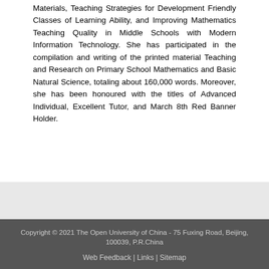Materials, Teaching Strategies for Development Friendly Classes of Learning Ability, and Improving Mathematics Teaching Quality in Middle Schools with Modern Information Technology. She has participated in the compilation and writing of the printed material Teaching and Research on Primary School Mathematics and Basic Natural Science, totaling about 160,000 words. Moreover, she has been honoured with the titles of Advanced Individual, Excellent Tutor, and March 8th Red Banner Holder.
Copyright © 2021 The Open University of China - 75 Fuxing Road, Beijing, 100039, P.R.China
Web Feedback | Links | Sitemap